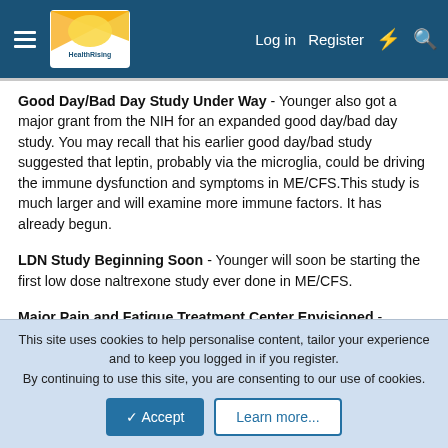HealthRising | Log in | Register
Good Day/Bad Day Study Under Way - Younger also got a major grant from the NIH for an expanded good day/bad day study. You may recall that his earlier good day/bad study suggested that leptin, probably via the microglia, could be driving the immune dysfunction and symptoms in ME/CFS.This study is much larger and will examine more immune factors. It has already begun.
LDN Study Beginning Soon - Younger will soon be starting the first low dose naltrexone study ever done in ME/CFS.
Major Pain and Fatigue Treatment Center Envisioned - Younger's longer term goal "is to develop a “fast-track” clinical trial center for pain, fatigue and neuroinflammation that will test
This site uses cookies to help personalise content, tailor your experience and to keep you logged in if you register.
By continuing to use this site, you are consenting to our use of cookies.